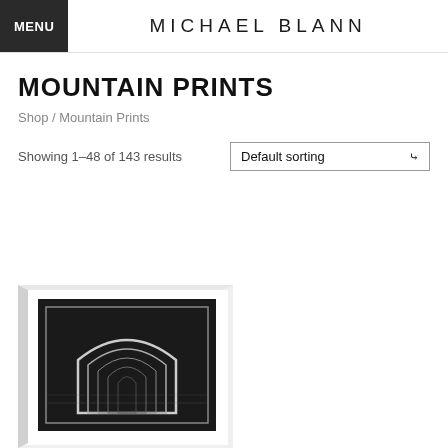MENU  MICHAEL BLANN
MOUNTAIN PRINTS
Shop / Mountain Prints
Showing 1–48 of 143 results
Default sorting
[Figure (photo): A framed black and white photograph of a mountain tunnel or arch shape, displayed at an angle on a white surface. The print is in a white frame and appears to be a geometric or landscape artwork with dark tones.]